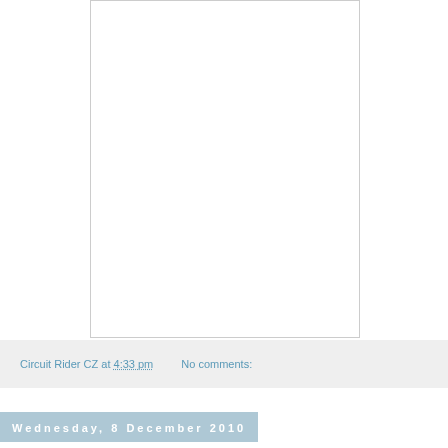[Figure (other): White rectangular image area with a light gray border, mostly blank/empty content]
Circuit Rider CZ at 4:33 pm   No comments:
Wednesday, 8 December 2010